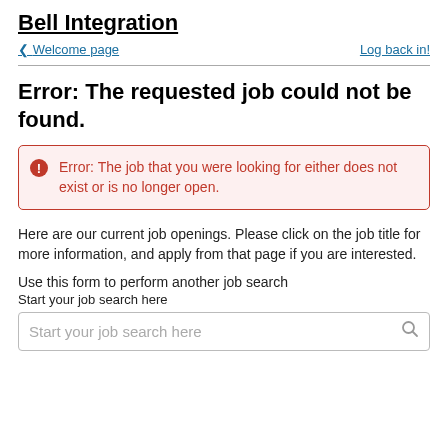Bell Integration
Welcome page | Log back in!
Error: The requested job could not be found.
Error: The job that you were looking for either does not exist or is no longer open.
Here are our current job openings. Please click on the job title for more information, and apply from that page if you are interested.
Use this form to perform another job search
Start your job search here